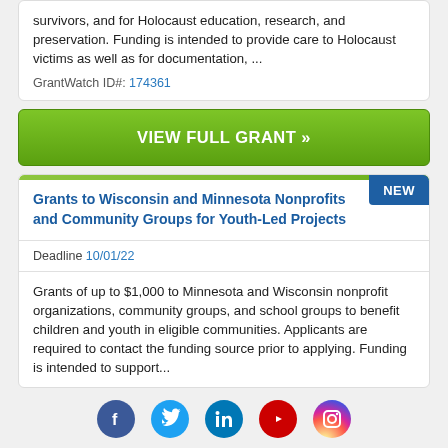survivors, and for Holocaust education, research, and preservation. Funding is intended to provide care to Holocaust victims as well as for documentation, ...
GrantWatch ID#: 174361
VIEW FULL GRANT »
Grants to Wisconsin and Minnesota Nonprofits and Community Groups for Youth-Led Projects
Deadline 10/01/22
Grants of up to $1,000 to Minnesota and Wisconsin nonprofit organizations, community groups, and school groups to benefit children and youth in eligible communities. Applicants are required to contact the funding source prior to applying. Funding is intended to support...
[Figure (illustration): Social media icons row: Facebook (blue circle), Twitter (light blue circle), LinkedIn (dark blue circle), YouTube (red circle), Instagram (gradient circle)]